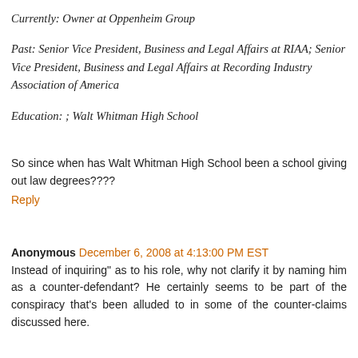Currently: Owner at Oppenheim Group
Past: Senior Vice President, Business and Legal Affairs at RIAA; Senior Vice President, Business and Legal Affairs at Recording Industry Association of America
Education: ; Walt Whitman High School
So since when has Walt Whitman High School been a school giving out law degrees????
Reply
Anonymous December 6, 2008 at 4:13:00 PM EST
Instead of inquiring" as to his role, why not clarify it by naming him as a counter-defendant? He certainly seems to be part of the conspiracy that's been alluded to in some of the counter-claims discussed here.